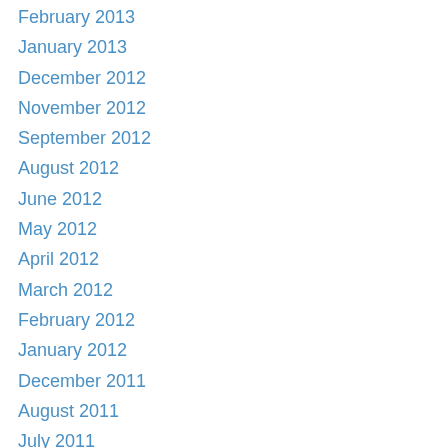February 2013
January 2013
December 2012
November 2012
September 2012
August 2012
June 2012
May 2012
April 2012
March 2012
February 2012
January 2012
December 2011
August 2011
July 2011
June 2011
May 2011
April 2011
February 2011
January 2011